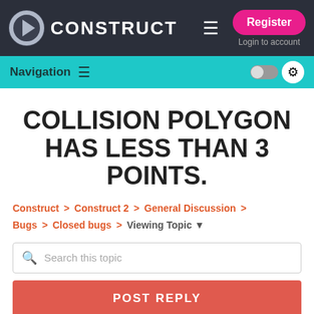Construct | Register | Login to account
Navigation
COLLISION POLYGON HAS LESS THAN 3 POINTS.
Construct > Construct 2 > General Discussion > Bugs > Closed bugs > Viewing Topic
Search this topic
POST REPLY
♥ Follow Topic (4)
0 favourites   6 posts